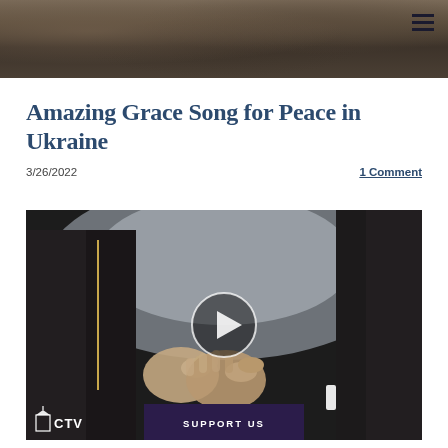[Figure (photo): Dark rocky/stone texture banner image across the top of the page]
Amazing Grace Song for Peace in Ukraine
3/26/2022
1 Comment
[Figure (screenshot): Video thumbnail showing two people in dark suits holding hands, with a play button circle overlay, CTV watermark in bottom left, and a 'SUPPORT US' button at the bottom center. Light grey sky background visible behind the figures.]